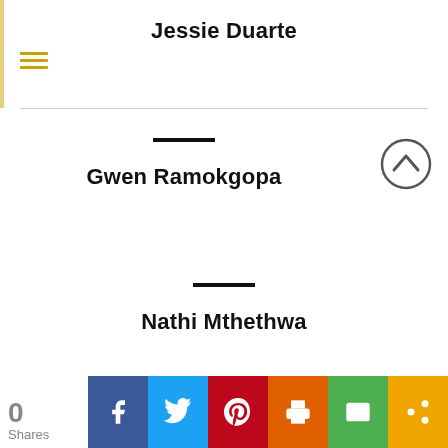Jessie Duarte
Gwen Ramokgopa
Nathi Mthethwa
0 Shares